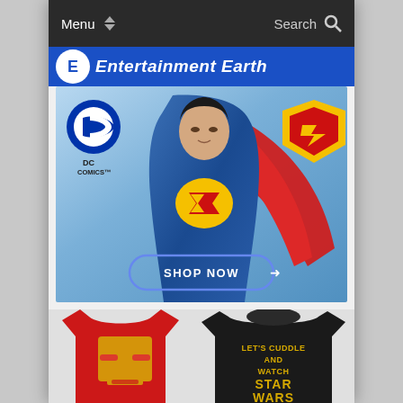Menu  Search
[Figure (screenshot): Entertainment Earth website banner with blue background and logo]
[Figure (photo): DC Comics Superman action figure advertisement with Shop Now button on blue sky background]
[Figure (photo): Two t-shirts: red Iron Man t-shirt and black Star Wars t-shirt reading LET'S CUDDLE AND WATCH STAR WARS]